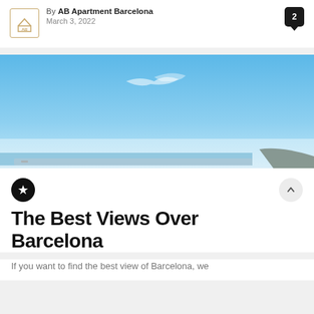By AB Apartment Barcelona
March 3, 2022
[Figure (photo): Panoramic view of Barcelona coastline and sea under a blue sky with light wispy clouds]
The Best Views Over Barcelona
If you want to find the best view of Barcelona, we